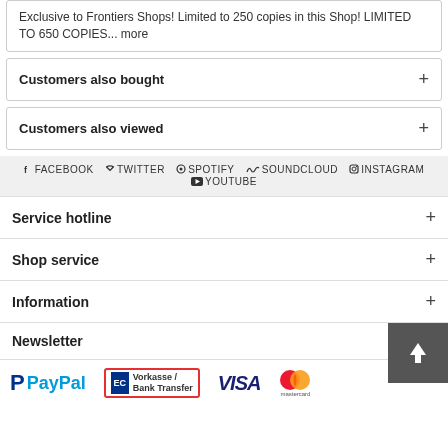Exclusive to Frontiers Shops! Limited to 250 copies in this Shop! LIMITED TO 650 COPIES... more
Customers also bought
Customers also viewed
FACEBOOK  TWITTER  SPOTIFY  SOUNDCLOUD  INSTAGRAM  YOUTUBE
Service hotline
Shop service
Information
Newsletter
[Figure (logo): Payment method logos: PayPal, EC Vorkasse/Bank Transfer, VISA, Mastercard]